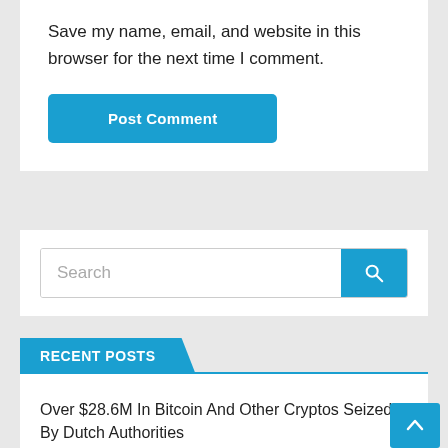Save my name, email, and website in this browser for the next time I comment.
Post Comment
Search
RECENT POSTS
Over $28.6M In Bitcoin And Other Cryptos Seized By Dutch Authorities
Leading Supermarket Chain in Croatia Introduces Crypto Payments – Bitcoin News